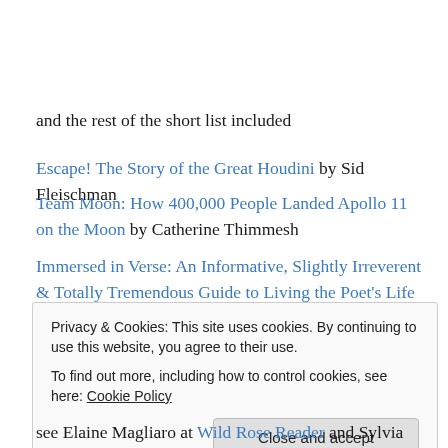and the rest of the short list included
Escape! The Story of the Great Houdini by Sid Fleischman
Team Moon: How 400,000 People Landed Apollo 11 on the Moon by Catherine Thimmesh
Immersed in Verse: An Informative, Slightly Irreverent & Totally Tremendous Guide to Living the Poet's Life by Alan Wolf
Privacy & Cookies: This site uses cookies. By continuing to use this website, you agree to their use. To find out more, including how to control cookies, see here: Cookie Policy
see Elaine Magliaro at Wild Rose Reader and Sylvia